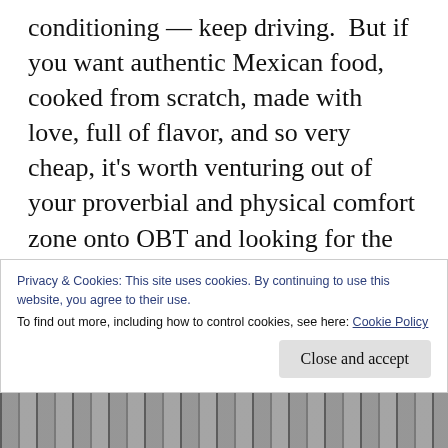conditioning — keep driving.  But if you want authentic Mexican food, cooked from scratch, made with love, full of flavor, and so very cheap, it's worth venturing out of your proverbial and physical comfort zone onto OBT and looking for the tiny white and red building.  Tell the nice ladies behind the heavily fortified window that I sent you… and they'll have no idea who or what you're talking about. But if you like tacos (and let's face it, who doesn't?), you really need to experience the
Privacy & Cookies: This site uses cookies. By continuing to use this website, you agree to their use.
To find out more, including how to control cookies, see here: Cookie Policy
[Figure (photo): Black and white photo strip visible at the bottom of the page]